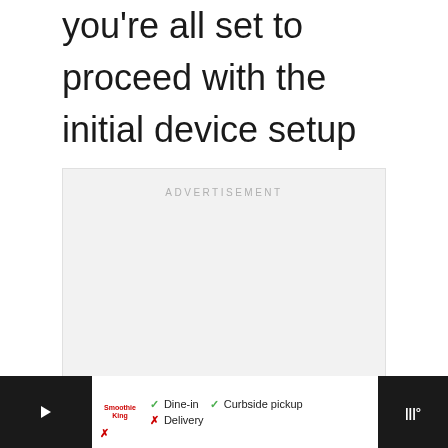you're all set to proceed with the initial device setup to use your phone again as you normally do. Else, consider other options including problem escalation.
[Figure (other): Advertisement placeholder box with 'ADVERTISEMENT' label in gray text on light gray background]
[Figure (other): Bottom advertisement banner showing Smoothie King logo with dine-in/curbside pickup/delivery options, navigation icon, and WW logo on dark background]